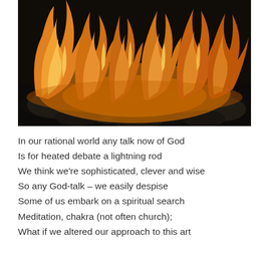[Figure (photo): Close-up photograph of fire flames burning over dark coal/wood pieces. Orange and golden flames rise against a dark background.]
In our rational world any talk now of God
Is for heated debate a lightning rod
We think we're sophisticated, clever and wise
So any God-talk – we easily despise
Some of us embark on a spiritual search
Meditation, chakra (not often church);
What if we altered our approach to this art